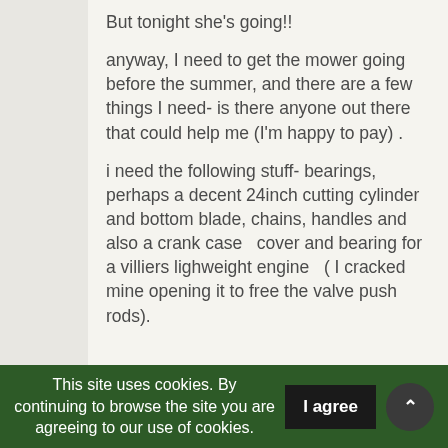But tonight she's going!!
anyway, I need to get the mower going before the summer, and there are a few things I need- is there anyone out there that could help me (I'm happy to pay) .
i need the following stuff- bearings, perhaps a decent 24inch cutting cylinder and bottom blade, chains, handles and also a crank case  cover and bearing for
a villiers lighweight engine  ( I cracked mine opening it to free the valve push rods).
This site uses cookies. By continuing to browse the site you are agreeing to our use of cookies.